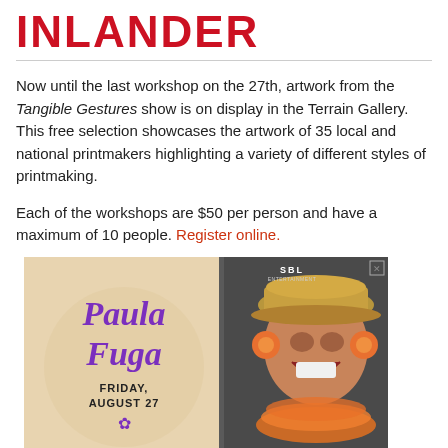INLANDER
Now until the last workshop on the 27th, artwork from the Tangible Gestures show is on display in the Terrain Gallery. This free selection showcases the artwork of 35 local and national printmakers highlighting a variety of different styles of printmaking.
Each of the workshops are $50 per person and have a maximum of 10 people. Register online.
[Figure (photo): Advertisement for Paula Fuga concert, Friday August 27, with SBL Entertainment logo. Left side shows stylized purple script text 'Paula Fuga' on a beige background with 'FRIDAY, AUGUST 27' below. Right side shows a smiling woman wearing a straw hat, orange flower accessories, and an orange lei.]